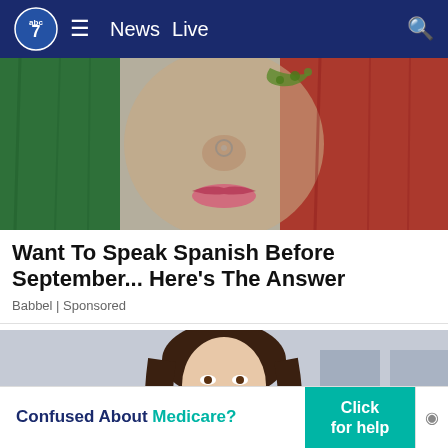abc7  ≡  News  Live  🔍
[Figure (photo): Person with face painted in Italian flag colors (green, white, red), close-up showing nose and mouth area, next to an Italian flag texture background]
Want To Speak Spanish Before September... Here's The Answer
Babbel | Sponsored
[Figure (photo): Smiling woman with long brown hair in a professional setting, appears to be an airport or public space background]
Confused About Medicare? Click for help